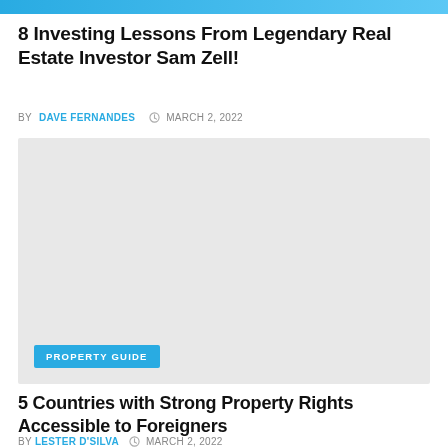[Figure (photo): Top image banner strip with blue gradient]
8 Investing Lessons From Legendary Real Estate Investor Sam Zell!
BY DAVE FERNANDES  © MARCH 2, 2022
[Figure (photo): Large gray placeholder image with PROPERTY GUIDE badge]
5 Countries with Strong Property Rights Accessible to Foreigners
BY LESTER D'SILVA  © MARCH 2, 2022
[Figure (photo): Bottom gray image strip partially visible]